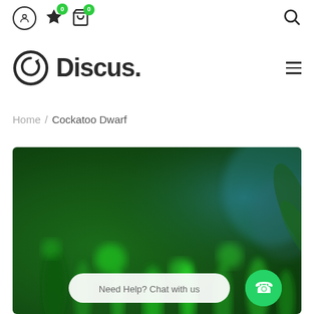Top navigation bar with user icon, wishlist (0), cart (0), and search icon
[Figure (logo): Discus. brand logo with circular arrow icon and bold text]
Home / Cockatoo Dwarf
[Figure (photo): Blurred background image of green aquatic plants with a WhatsApp chat widget overlay reading 'Need Help? Chat with us']